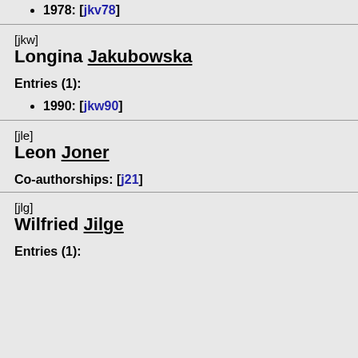1978: [jkv78]
[jkw]
Longina Jakubowska
Entries (1):
1990: [jkw90]
[jle]
Leon Joner
Co-authorships: [j21]
[jlg]
Wilfried Jilge
Entries (1):